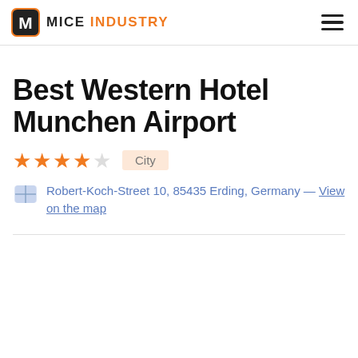MICE INDUSTRY
Best Western Hotel Munchen Airport
★★★★ City
Robert-Koch-Street 10, 85435 Erding, Germany — View on the map